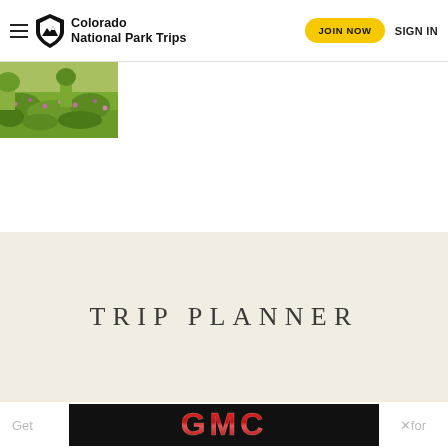Colorado National Park Trips — JOIN NOW  SIGN IN
[Figure (photo): Partial view of a green meadow with wildflowers, cropped in the upper-left corner of the page]
TRIP PLANNER
[Figure (logo): GMC advertisement banner with red GMC logo on black background, with 'Get' text on left and 'for' text with close button on right]